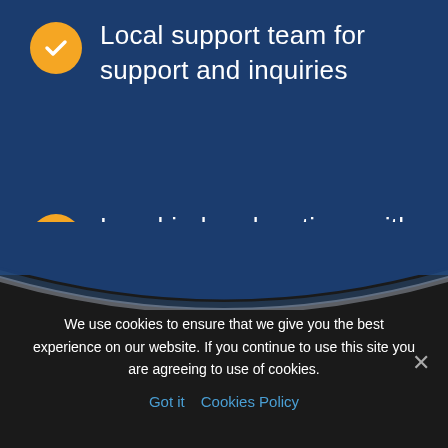Local support team for support and inquiries
Local indoor locations with parking space
We use cookies to ensure that we give you the best experience on our website. If you continue to use this site you are agreeing to use of cookies.
Got it  Cookies Policy